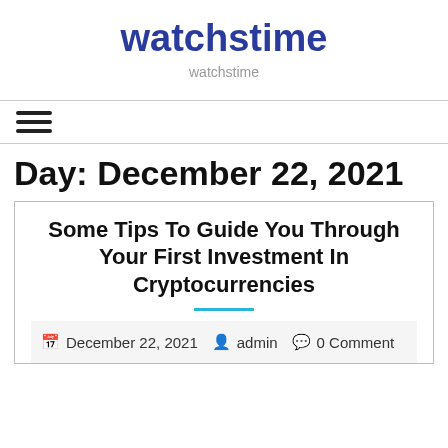watchstime
watchstime
Day: December 22, 2021
Some Tips To Guide You Through Your First Investment In Cryptocurrencies
December 22, 2021  admin  0 Comment